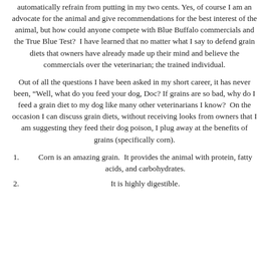automatically refrain from putting in my two cents. Yes, of course I am an advocate for the animal and give recommendations for the best interest of the animal, but how could anyone compete with Blue Buffalo commercials and the True Blue Test?  I have learned that no matter what I say to defend grain diets that owners have already made up their mind and believe the commercials over the veterinarian; the trained individual.
Out of all the questions I have been asked in my short career, it has never been, “Well, what do you feed your dog, Doc? If grains are so bad, why do I feed a grain diet to my dog like many other veterinarians I know?  On the occasion I can discuss grain diets, without receiving looks from owners that I am suggesting they feed their dog poison, I plug away at the benefits of grains (specifically corn).
1. Corn is an amazing grain.  It provides the animal with protein, fatty acids, and carbohydrates.
2. It is highly digestible.